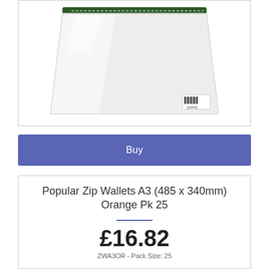[Figure (photo): A transparent zip wallet/bag product photo on white background with a dark green zip at the top and a small barcode label in the bottom right corner]
Buy
Popular Zip Wallets A3 (485 x 340mm) Orange Pk 25
£16.82
ZWA3OR - Pack Size: 25